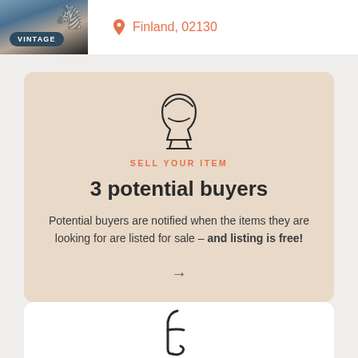[Figure (screenshot): Top listing card showing a vintage chair photo with VINTAGE badge, location pin icon and Finland, 02130 text in orange]
[Figure (illustration): Promotional card with beige background containing an outline icon of an egg chair, orange SELL YOUR ITEM label, bold text '3 potential buyers', descriptive text about potential buyers being notified, and a right arrow button]
[Figure (logo): Partial white card at bottom showing a stylized F logo in dark color, partially cropped]